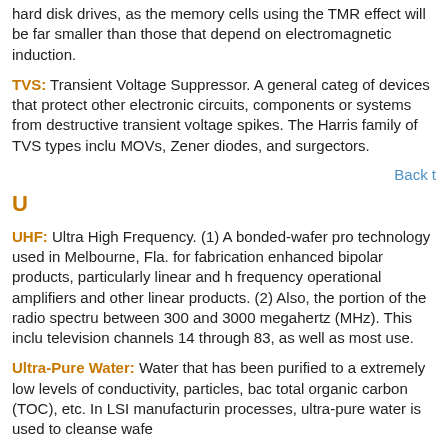hard disk drives, as the memory cells using the TMR effect will be far smaller than those that depend on electromagnetic induction.
TVS: Transient Voltage Suppressor. A general category of devices that protect other electronic circuits, components or systems from destructive transient voltage spikes. The Harris family of TVS types includes MOVs, Zener diodes, and surgectors.
Back t
U
UHF: Ultra High Frequency. (1) A bonded-wafer process technology used in Melbourne, Fla. for fabrication of enhanced bipolar products, particularly linear and high frequency operational amplifiers and other linear products. (2) Also, the portion of the radio spectrum between 300 and 3000 megahertz (MHz). This includes television channels 14 through 83, as well as most use.
Ultra-Pure Water: Water that has been purified to attain extremely low levels of conductivity, particles, bacteria, total organic carbon (TOC), etc. In LSI manufacturing processes, ultra-pure water is used to cleanse wafers